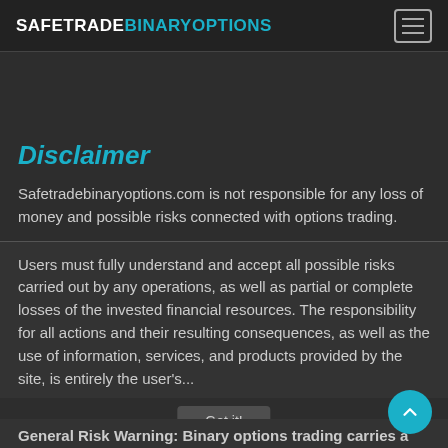SAFETRADEBINARYOPTIONS
Disclaimer
Safetradebinaryoptions.com is not responsible for any loss of money and possible risks connected with options trading.
Users must fully understand and accept all possible risks carried out by any operations, as well as partial or complete losses of the invested financial resources. The responsibility for all actions and their resulting consequences, as well as the use of information, services, and products provided by the site, is entirely the user's...
Got it!
General Risk Warning: Binary options trading carries a